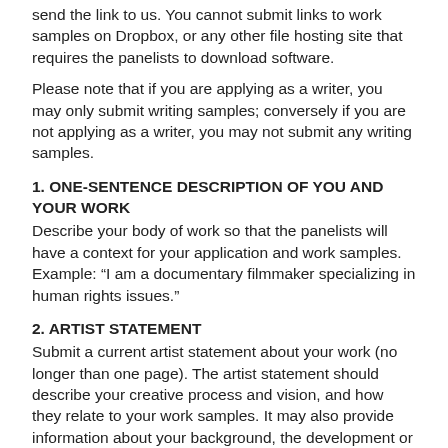send the link to us. You cannot submit links to work samples on Dropbox, or any other file hosting site that requires the panelists to download software.
Please note that if you are applying as a writer, you may only submit writing samples; conversely if you are not applying as a writer, you may not submit any writing samples.
1. ONE-SENTENCE DESCRIPTION OF YOU AND YOUR WORK
Describe your body of work so that the panelists will have a context for your application and work samples. Example: “I am a documentary filmmaker specializing in human rights issues.”
2. ARTIST STATEMENT
Submit a current artist statement about your work (no longer than one page). The artist statement should describe your creative process and vision, and how they relate to your work samples. It may also provide information about your background, the development or current direction of your work, or other information you would like to present to the panel. If applicable, discuss how you are uniquely positioned to create your work and/or how you consider questions about representation, accountability or other ethical considerations in your work or practice. Include your name at the top of the page. (For additional info, see FAQ 14 below)